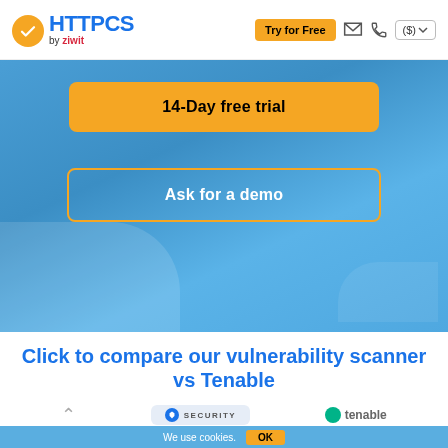[Figure (logo): HTTPCS by ziwit logo with yellow checkmark circle, blue HTTPCS text, and ziwit brand below]
Try for Free
[Figure (screenshot): Navigation bar with Try for Free button, email icon, phone icon, dollar currency selector]
14-Day free trial
Ask for a demo
Click to compare our vulnerability scanner vs Tenable
We use cookies.
OK